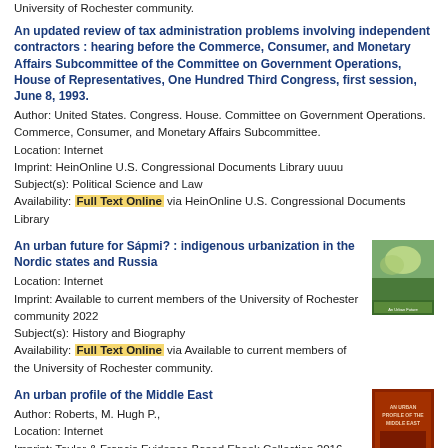University of Rochester community.
An updated review of tax administration problems involving independent contractors : hearing before the Commerce, Consumer, and Monetary Affairs Subcommittee of the Committee on Government Operations, House of Representatives, One Hundred Third Congress, first session, June 8, 1993.
Author: United States. Congress. House. Committee on Government Operations. Commerce, Consumer, and Monetary Affairs Subcommittee.
Location: Internet
Imprint: HeinOnline U.S. Congressional Documents Library uuuu
Subject(s): Political Science and Law
Availability: Full Text Online via HeinOnline U.S. Congressional Documents Library
An urban future for Sápmi? : indigenous urbanization in the Nordic states and Russia
Location: Internet
Imprint: Available to current members of the University of Rochester community 2022
Subject(s): History and Biography
Availability: Full Text Online via Available to current members of the University of Rochester community.
An urban profile of the Middle East
Author: Roberts, M. Hugh P.,
Location: Internet
Imprint: Taylor & Francis Evidence Based Ebook Collection 2016
Subject(s): Sociology and General Social Sciences